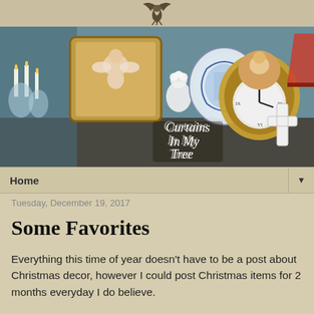[Figure (photo): Banner photo collage of antique decorative items including ornate frames with cherub art, blue and white porcelain plates, a gilded clock, crystal chandelier, a white cross, and a colorful lamp shade. Text overlay reads 'Curtains In My Tree' in cursive script.]
Home
Tuesday, December 19, 2017
Some Favorites
Everything this time of year doesn't have to be a post about Christmas decor, however I could post Christmas items for 2 months everyday I do believe.